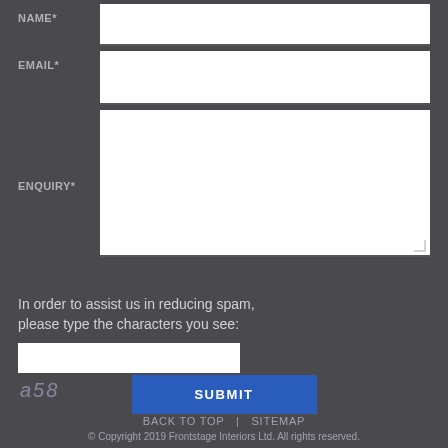NAME*
EMAIL*
ENQUIRY*
In order to assist us in reducing spam, please type the characters you see:
a58
SUBMIT
BACK TO TOP | SITEMAP
© Copyright 2019 Frontstage Interiors Ltd. All rights reserved.